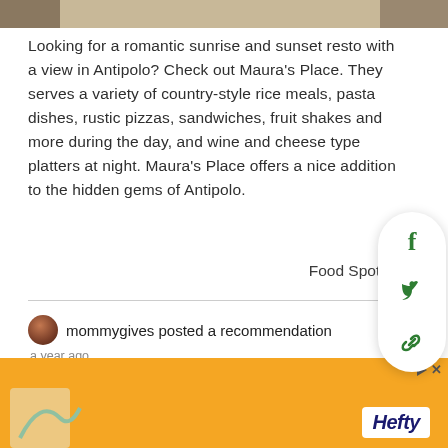[Figure (photo): Top partial photo strip of restaurant interior/food scene]
Looking for a romantic sunrise and sunset resto with a view in Antipolo? Check out Maura's Place. They serves a variety of country-style rice meals, pasta dishes, rustic pizzas, sandwiches, fruit shakes and more during the day, and wine and cheese type platters at night. Maura's Place offers a nice addition to the hidden gems of Antipolo.
Food Spots
mommygives posted a recommendation
a year ago
[Figure (photo): Bottom partial photo of a person outdoors with trees in background]
[Figure (other): Hefty advertisement banner with orange background and logo]
[Figure (infographic): Social share panel with Facebook, Twitter, and link icons]